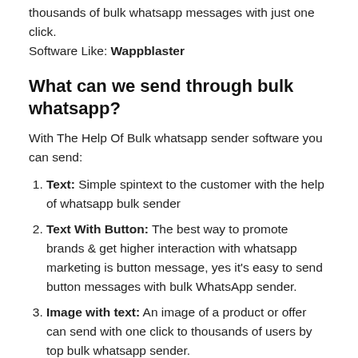thousands of bulk whatsapp messages with just one click. Software Like: Wappblaster
What can we send through bulk whatsapp?
With The Help Of Bulk whatsapp sender software you can send:
Text: Simple spintext to the customer with the help of whatsapp bulk sender
Text With Button: The best way to promote brands & get higher interaction with whatsapp marketing is button message, yes it's easy to send button messages with bulk WhatsApp sender.
Image with text: An image of a product or offer can send with one click to thousands of users by top bulk whatsapp sender.